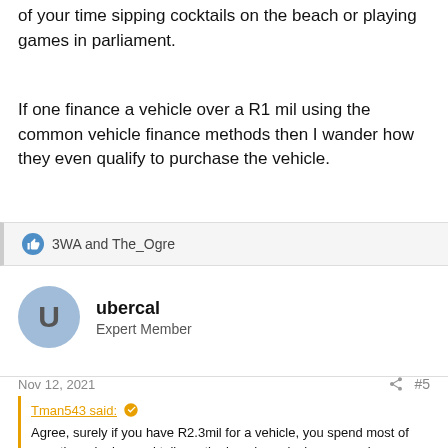of your time sipping cocktails on the beach or playing games in parliament.
If one finance a vehicle over a R1 mil using the common vehicle finance methods then I wander how they even qualify to purchase the vehicle.
👍 3WA and The_Ogre
ubercal
Expert Member
Nov 12, 2021
#5
Tman543 said:
Agree, surely if you have R2.3mil for a vehicle, you spend most of your time sipping cocktails on the beach or playing games in parliament.

If one finance a vehicle over a R1 mil using the common vehicle finance methods then I wander how they even qualify to purchase the